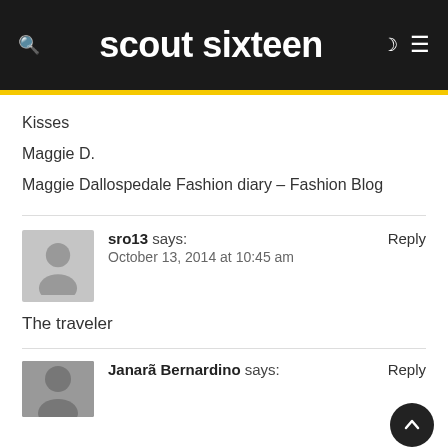scout sixteen
Kisses
Maggie D.
Maggie Dallospedale Fashion diary – Fashion Blog
sro13 says:
October 13, 2014 at 10:45 am
The traveler
Janarã Bernardino says: